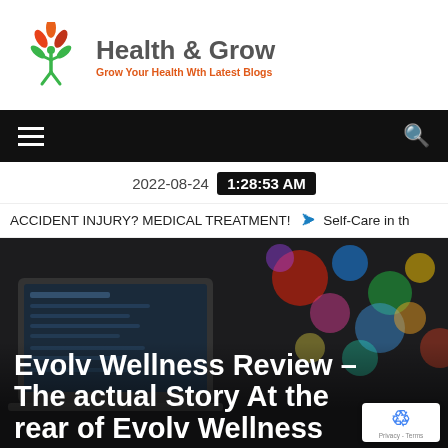[Figure (logo): Health & Grow logo with a green figure holding leaves and orange petals above, with text 'Health & Grow' and tagline 'Grow Your Health Wth Latest Blogs']
[Figure (screenshot): Black navigation bar with hamburger menu icon on left and search icon on right]
2022-08-24  1:28:53 AM
ACCIDENT INJURY? MEDICAL TREATMENT!   ➔  Self-Care in th
[Figure (photo): Hero image showing a laptop in dark background with colorful bokeh lights, overlaid with large white bold text: 'Evolv Wellness Review – The actual Story At the rear of Evolv Wellness']
Evolv Wellness Review – The actual Story At the rear of Evolv Wellness